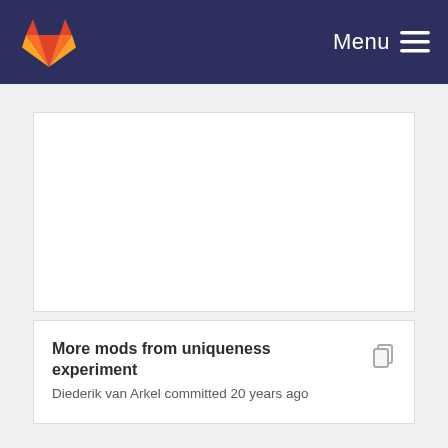GitLab — Menu
[Figure (other): Empty white panel area]
More mods from uniqueness experiment
Diederik van Arkel committed 20 years ago